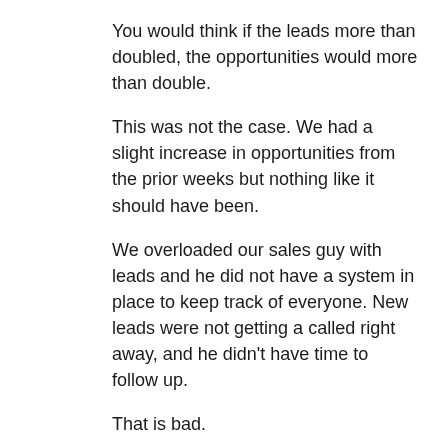You would think if the leads more than doubled, the opportunities would more than double.
This was not the case. We had a slight increase in opportunities from the prior weeks but nothing like it should have been.
We overloaded our sales guy with leads and he did not have a system in place to keep track of everyone. New leads were not getting a called right away, and he didn't have time to follow up.
That is bad.
High-ticket sales don't just happen.
When selling a higher ticket item, you have to have a sales force that can call immediately and say the right things. For this, we needed a strict sales script.